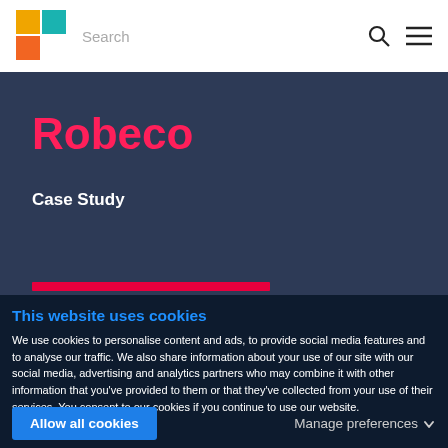Search
Robeco
Case Study
This website uses cookies
We use cookies to personalise content and ads, to provide social media features and to analyse our traffic. We also share information about your use of our site with our social media, advertising and analytics partners who may combine it with other information that you've provided to them or that they've collected from your use of their services. You consent to our cookies if you continue to use our website.
Allow all cookies
Manage preferences